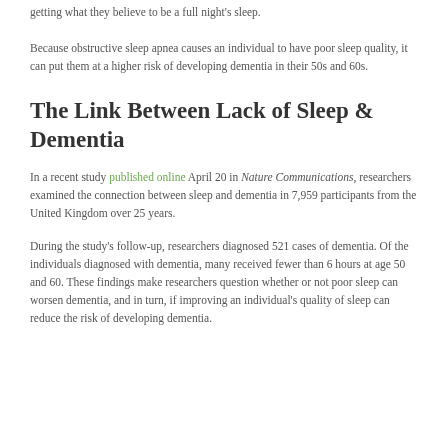getting what they believe to be a full night's sleep.
Because obstructive sleep apnea causes an individual to have poor sleep quality, it can put them at a higher risk of developing dementia in their 50s and 60s.
The Link Between Lack of Sleep & Dementia
In a recent study published online April 20 in Nature Communications, researchers examined the connection between sleep and dementia in 7,959 participants from the United Kingdom over 25 years.
During the study's follow-up, researchers diagnosed 521 cases of dementia. Of the individuals diagnosed with dementia, many received fewer than 6 hours at age 50 and 60. These findings make researchers question whether or not poor sleep can worsen dementia, and in turn, if improving an individual's quality of sleep can reduce the risk of developing dementia.